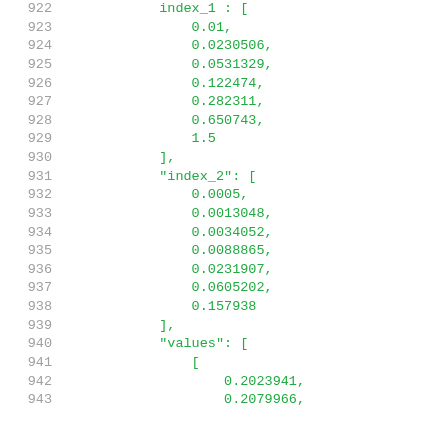922    index_1 : [
923        0.01,
924        0.0230506,
925        0.0531329,
926        0.122474,
927        0.282311,
928        0.650743,
929        1.5
930    ],
931    "index_2": [
932        0.0005,
933        0.0013048,
934        0.0034052,
935        0.0088865,
936        0.0231907,
937        0.0605202,
938        0.157938
939    ],
940    "values": [
941        [
942            0.2023941,
943            0.2079966,